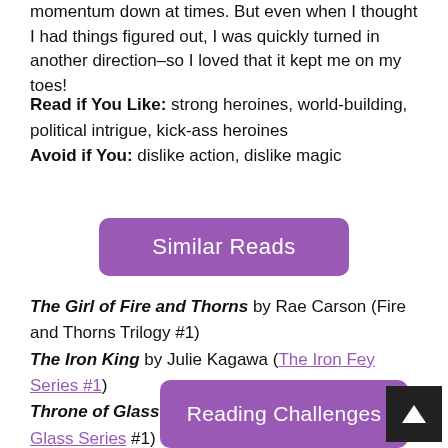momentum down at times. But even when I thought I had things figured out, I was quickly turned in another direction–so I loved that it kept me on my toes!
Read if You Like: strong heroines, world-building, political intrigue, kick-ass heroines
Avoid if You: dislike action, dislike magic
[Figure (other): Purple rounded rectangle button labeled 'Similar Reads' in white text]
The Girl of Fire and Thorns by Rae Carson (Fire and Thorns Trilogy #1)
The Iron King by Julie Kagawa (The Iron Fey Series #1)
Throne of Glass by Sarah J. Maas (Throne of Glass Series #1)
[Figure (other): Purple rounded rectangle button labeled 'Reading Challenges' in white text, with a black arrow button to the right]